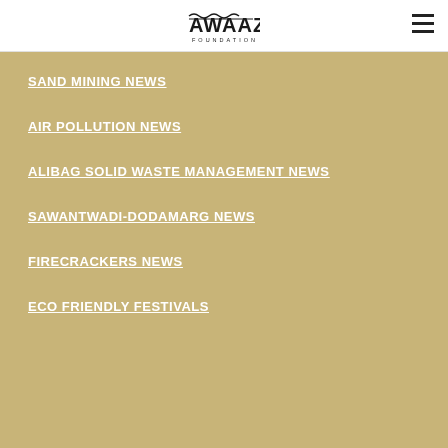Awaaz Foundation
SAND MINING NEWS
AIR POLLUTION NEWS
ALIBAG SOLID WASTE MANAGEMENT NEWS
SAWANTWADI-DODAMARG NEWS
FIRECRACKERS NEWS
ECO FRIENDLY FESTIVALS